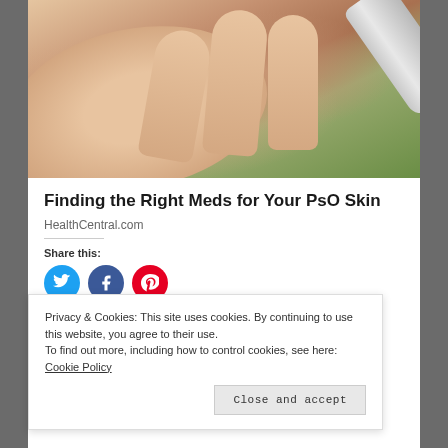[Figure (photo): Close-up of hands with a tube of cream/ointment being squeezed onto an open palm, with a green blurred background]
Finding the Right Meds for Your PsO Skin
HealthCentral.com
Share this:
[Figure (other): Three circular social share buttons: Twitter (blue), Facebook (dark blue), Pinterest (red)]
Privacy & Cookies: This site uses cookies. By continuing to use this website, you agree to their use.
To find out more, including how to control cookies, see here: Cookie Policy
Close and accept